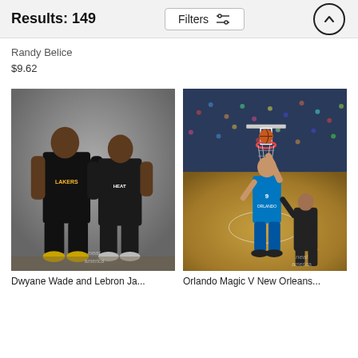Results: 149
Randy Belice
$9.62
[Figure (photo): Two NBA basketball players in All-Star uniforms standing together — one in a Lakers jersey and one in a Heat jersey — posed against a gray background. Watermark: Neal media america.]
Dwyane Wade and Lebron Ja...
[Figure (photo): NBA game action shot of an Orlando Magic player (number 9) in a blue jersey attempting a layup near the basket at a packed arena, with other players visible. Watermark: Neal media america.]
Orlando Magic V New Orleans...